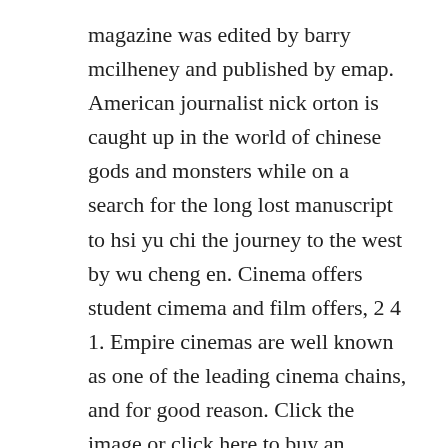magazine was edited by barry mcilheney and published by emap. American journalist nick orton is caught up in the world of chinese gods and monsters while on a search for the long lost manuscript to hsi yu chi the journey to the west by wu cheng en. Cinema offers student cimema and film offers, 2 4 1. Empire cinemas are well known as one of the leading cinema chains, and for good reason. Click the image or click here to buy an empire cinema gift card from.
The scheme helps participating cinemas to